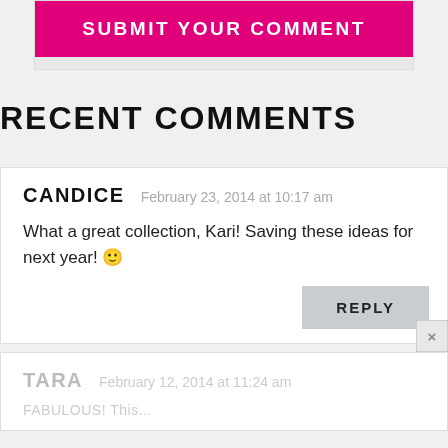[Figure (screenshot): Pink 'SUBMIT YOUR COMMENT' button at top of page]
RECENT COMMENTS
CANDICE   February 23, 2014 at 10:17 am
What a great collection, Kari! Saving these ideas for next year! 🙂
TARA   February 12, 2014 at 11:24 am
FABULOUS! This...